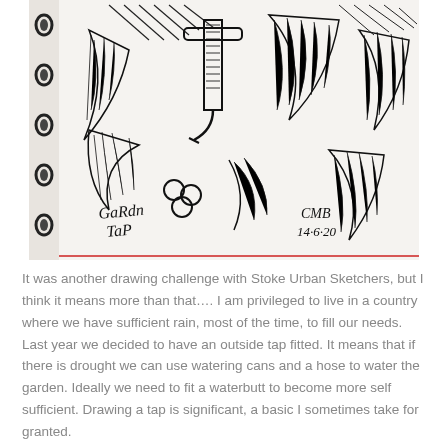[Figure (illustration): A black and white ink sketch of a garden tap with leaves and foliage around it, drawn in a sketchbook with spiral binding visible on the left. The sketch is labeled 'Garden Tap' in handwritten text at the bottom left, and signed 'CMB 14-6-20' at the bottom right.]
It was another drawing challenge with Stoke Urban Sketchers, but I think it means more than that.... I am privileged to live in a country where we have sufficient rain, most of the time, to fill our needs. Last year we decided to have an outside tap fitted. It means that if there is drought we can use watering cans and a hose to water the garden. Ideally we need to fit a waterbutt to become more self sufficient. Drawing a tap is significant, a basic I sometimes take for granted.